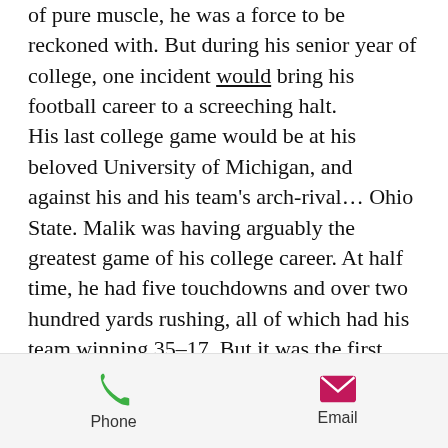of pure muscle, he was a force to be reckoned with. But during his senior year of college, one incident would bring his football career to a screeching halt. His last college game would be at his beloved University of Michigan, and against his and his team's arch-rival… Ohio State. Malik was having arguably the greatest game of his college career. At half time, he had five touchdowns and over two hundred yards rushing, all of which had his team winning 35–17. But it was the first play, in the third quarter, that would bring about an end to the star running back so many in the country had grown to know and love. Malik took a handoff from the
Phone | Email